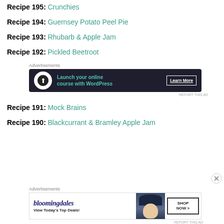Recipe 195: Crunchies
Recipe 194: Guernsey Potato Peel Pie
Recipe 193: Rhubarb & Apple Jam
Recipe 192: Pickled Beetroot
[Figure (other): Advertisement banner: Launch your online course with WordPress. Learn More button. Dark background with teal text.]
Recipe 191: Mock Brains
Recipe 190: Blackcurrant & Bramley Apple Jam
[Figure (other): Advertisement banner: Bloomingdales. View Today's Top Deals! Shop Now button. White background with woman in hat image.]